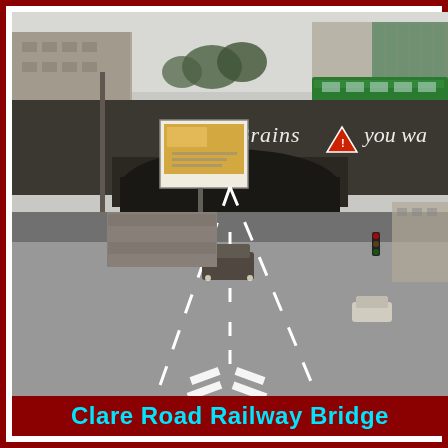[Figure (photo): Street-level photograph of Clare Road Railway Bridge. A dark railway bridge spans a multi-lane road (underpass visible). A green train is visible on top of the bridge. Text on the bridge facade reads 'it's Brains you wa...' (partially visible). A billboard is visible on the left side. Cars drive under and approach the bridge. Urban setting with buildings in the background.]
Clare Road Railway Bridge